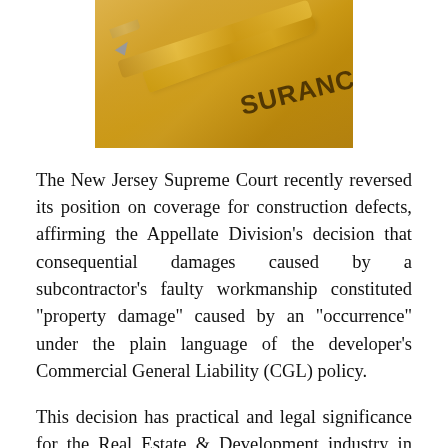[Figure (photo): Photo of a gold pen resting on a document with the word INSURANCE visible, golden/amber tones]
The New Jersey Supreme Court recently reversed its position on coverage for construction defects, affirming the Appellate Division’s decision that consequential damages caused by a subcontractor’s faulty workmanship constituted “property damage” caused by an “occurrence” under the plain language of the developer’s Commercial General Liability (CGL) policy.
This decision has practical and legal significance for the Real Estate & Development industry in New Jersey, as to how future policies will be written.
Historically, the courts held that consequential damages from faulty workmanship were not